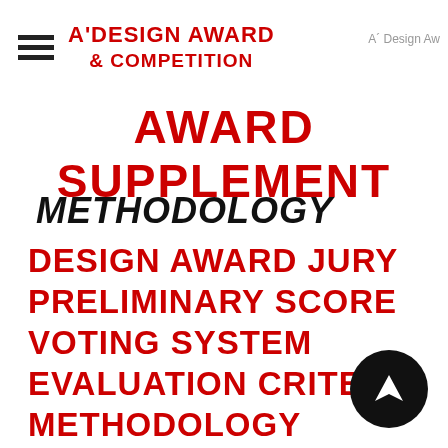A'DESIGN AWARD & COMPETITION | A' Design Aw...
AWARD SUPPLEMENT
METHODOLOGY
DESIGN AWARD JURY
PRELIMINARY SCORE
VOTING SYSTEM
EVALUATION CRITERIA
METHODOLOGY
BENEFITS FOR